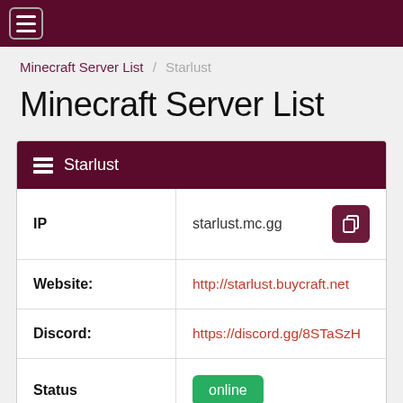≡ (navigation bar)
Minecraft Server List / Starlust
Minecraft Server List
| Field | Value |
| --- | --- |
| IP | starlust.mc.gg |
| Website: | http://starlust.buycraft.net |
| Discord: | https://discord.gg/8STaSzH |
| Status | online |
| Players | 0 / 35 |